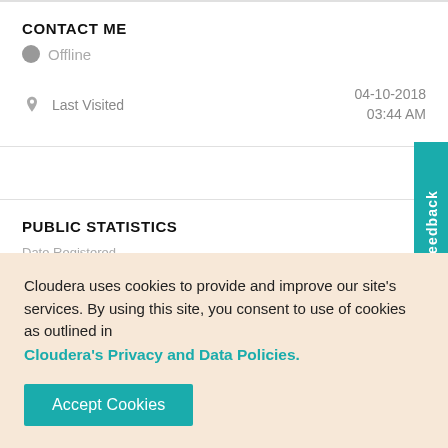CONTACT ME
Offline
Last Visited	04-10-2018
03:44 AM
PUBLIC STATISTICS
Date Registered
05-18-2017 03:50 AM
Cloudera uses cookies to provide and improve our site's services. By using this site, you consent to use of cookies as outlined in Cloudera's Privacy and Data Policies.
Accept Cookies